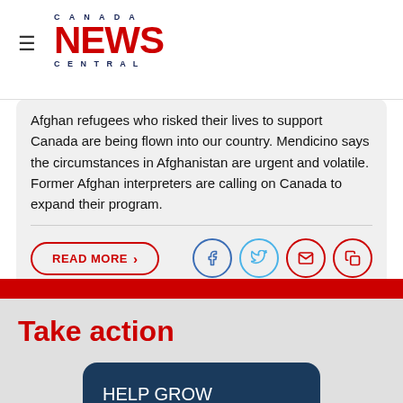Canada News Central
Afghan refugees who risked their lives to support Canada are being flown into our country. Mendicino says the circumstances in Afghanistan are urgent and volatile. Former Afghan interpreters are calling on Canada to expand their program.
READ MORE
Take action
HELP GROW PROGRESSIVE DAILY NEWS